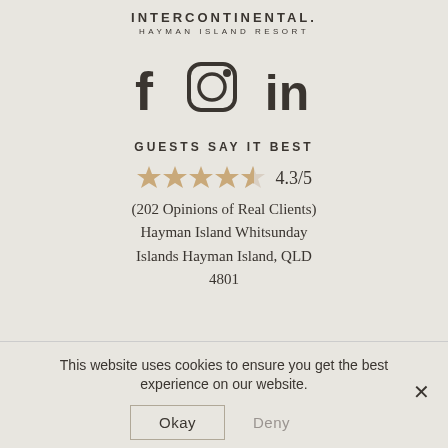[Figure (logo): Intercontinental Hayman Island Resort logo with text INTERCONTINENTAL. and HAYMAN ISLAND RESORT]
[Figure (infographic): Social media icons: Facebook (f), Instagram (camera in circle), LinkedIn (in)]
GUESTS SAY IT BEST
[Figure (other): Star rating: 4 filled stars and 1 half star, rating 4.3/5]
(202 Opinions of Real Clients)
Hayman Island Whitsunday Islands Hayman Island, QLD 4801
This website uses cookies to ensure you get the best experience on our website.